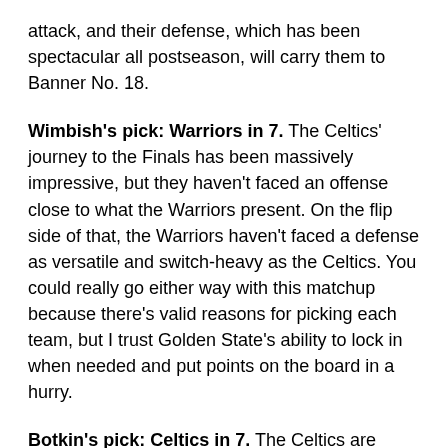attack, and their defense, which has been spectacular all postseason, will carry them to Banner No. 18.
Wimbish's pick: Warriors in 7. The Celtics' journey to the Finals has been massively impressive, but they haven't faced an offense close to what the Warriors present. On the flip side of that, the Warriors haven't faced a defense as versatile and switch-heavy as the Celtics. You could really go either way with this matchup because there's valid reasons for picking each team, but I trust Golden State's ability to lock in when needed and put points on the board in a hurry.
Botkin's pick: Celtics in 7. The Celtics are perfectly equipped to defend Golden State's off-ball movement, and they can beat the Warriors on the offensive glass, especially when Golden State isn't playing Kevon Looney, which adds up over the course of a series. Golden State is prone to turnovers, and Boston could cause a bunch. Golden State won't apply the same kind of perimeter pressure as Miami did on